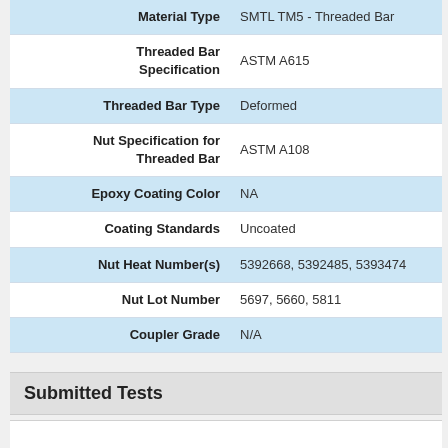| Field | Value |
| --- | --- |
| Material Type | SMTL TM5 - Threaded Bar |
| Threaded Bar Specification | ASTM A615 |
| Threaded Bar Type | Deformed |
| Nut Specification for Threaded Bar | ASTM A108 |
| Epoxy Coating Color | NA |
| Coating Standards | Uncoated |
| Nut Heat Number(s) | 5392668, 5392485, 5393474 |
| Nut Lot Number | 5697, 5660, 5811 |
| Coupler Grade | N/A |
Submitted Tests